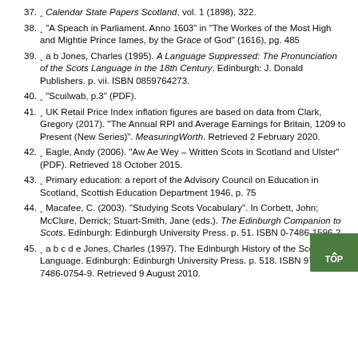37. ^ Calendar State Papers Scotland, vol. 1 (1898), 322.
38. ^ "A Speach in Parliament. Anno 1603" in "The Workes of the Most High and Mightie Prince Iames, by the Grace of God" (1616), pg. 485
39. ^ a b Jones, Charles (1995). A Language Suppressed: The Pronunciation of the Scots Language in the 18th Century. Edinburgh: J. Donald Publishers. p. vii. ISBN 0859764273.
40. ^ "Scuilwab, p.3" (PDF).
41. ^ UK Retail Price Index inflation figures are based on data from Clark, Gregory (2017). "The Annual RPI and Average Earnings for Britain, 1209 to Present (New Series)". MeasuringWorth. Retrieved 2 February 2020.
42. ^ Eagle, Andy (2006). "Aw Ae Wey – Written Scots in Scotland and Ulster" (PDF). Retrieved 18 October 2015.
43. ^ Primary education: a report of the Advisory Council on Education in Scotland, Scottish Education Department 1946, p. 75
44. ^ Macafee, C. (2003). "Studying Scots Vocabulary". In Corbett, John; McClure, Derrick; Stuart-Smith, Jane (eds.). The Edinburgh Companion to Scots. Edinburgh: Edinburgh University Press. p. 51. ISBN 0-7486-1596-2.
45. ^ a b c d e Jones, Charles (1997). The Edinburgh History of the Scots Language. Edinburgh: Edinburgh University Press. p. 518. ISBN 978-0-7486-0754-9. Retrieved 9 August 2010.